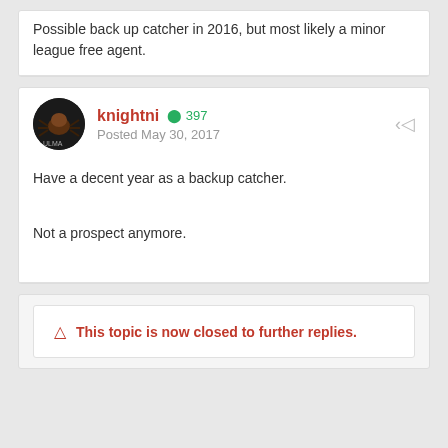Possible back up catcher in 2016, but most likely a minor league free agent.
knightni +397 Posted May 30, 2017
Have a decent year as a backup catcher.
Not a prospect anymore.
This topic is now closed to further replies.